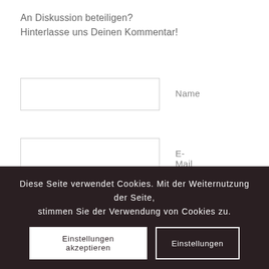An Diskussion beteiligen?
Hinterlasse uns Deinen Kommentar!
Name
E-Mail
Website
Diese Seite verwendet Cookies. Mit der Weiternutzung der Seite, stimmen Sie der Verwendung von Cookies zu.
Einstellungen akzeptieren
Einstellungen